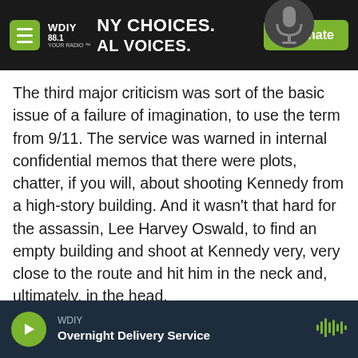WDIY 88.1 — NY CHOICES. LOCAL VOICES. | Donate
The third major criticism was sort of the basic issue of a failure of imagination, to use the term from 9/11. The service was warned in internal confidential memos that there were plots, chatter, if you will, about shooting Kennedy from a high-story building. And it wasn't that hard for the assassin, Lee Harvey Oswald, to find an empty building and shoot at Kennedy very, very close to the route and hit him in the neck and, ultimately, in the head.
On how Kennedy's assassination haunted the Secret Service
WDIY — Overnight Delivery Service